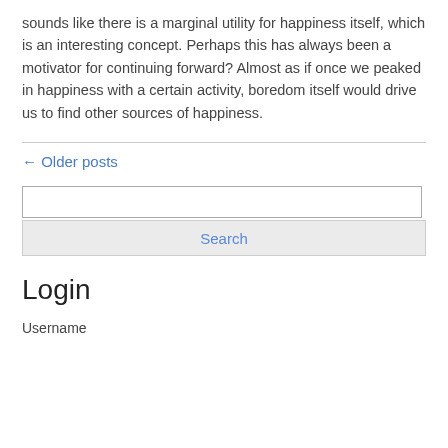sounds like there is a marginal utility for happiness itself, which is an interesting concept. Perhaps this has always been a motivator for continuing forward? Almost as if once we peaked in happiness with a certain activity, boredom itself would drive us to find other sources of happiness.
← Older posts
Search
Login
Username